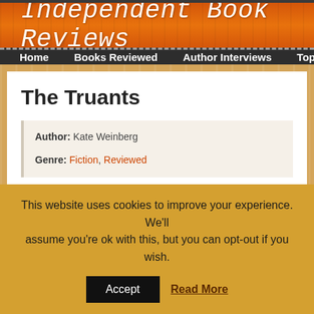Independent Book Reviews
Home | Books Reviewed | Author Interviews | Top Reads | Sunderlan
The Truants
Author: Kate Weinberg
Genre: Fiction, Reviewed
This website uses cookies to improve your experience. We'll assume you're ok with this, but you can opt-out if you wish.
Accept | Read More